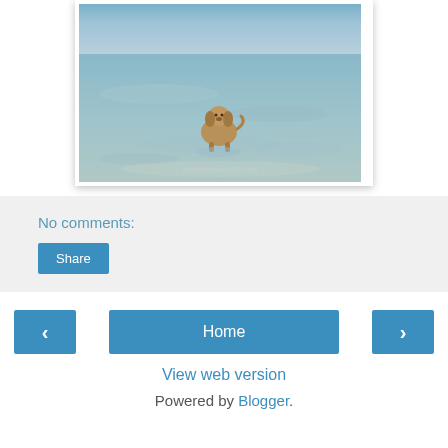[Figure (photo): A dog standing in shallow water on a beach with wet sand and reflections. Watermark text visible at bottom: northernlreland360.com]
No comments:
Share
‹
Home
›
View web version
Powered by Blogger.